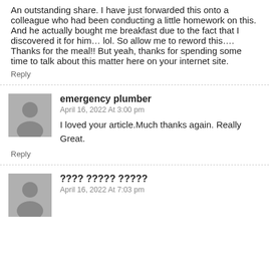An outstanding share. I have just forwarded this onto a colleague who had been conducting a little homework on this. And he actually bought me breakfast due to the fact that I discovered it for him… lol. So allow me to reword this…. Thanks for the meal!! But yeah, thanks for spending some time to talk about this matter here on your internet site.
Reply
emergency plumber
April 16, 2022 At 3:00 pm
I loved your article.Much thanks again. Really Great.
Reply
???? ????? ?????
April 16, 2022 At 7:03 pm